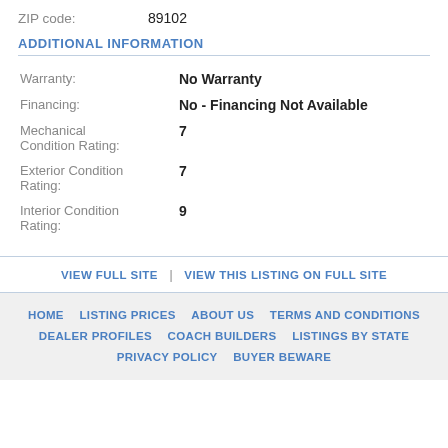ZIP code: 89102
ADDITIONAL INFORMATION
Warranty: No Warranty
Financing: No - Financing Not Available
Mechanical Condition Rating: 7
Exterior Condition Rating: 7
Interior Condition Rating: 9
VIEW FULL SITE | VIEW THIS LISTING ON FULL SITE
HOME   LISTING PRICES   ABOUT US   TERMS AND CONDITIONS   DEALER PROFILES   COACH BUILDERS   LISTINGS BY STATE   PRIVACY POLICY   BUYER BEWARE